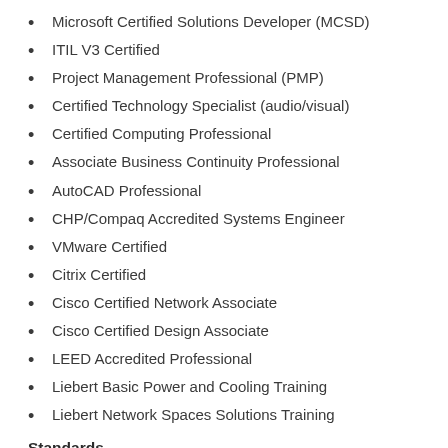Microsoft Certified Solutions Developer (MCSD)
ITIL V3 Certified
Project Management Professional (PMP)
Certified Technology Specialist (audio/visual)
Certified Computing Professional
Associate Business Continuity Professional
AutoCAD Professional
CHP/Compaq Accredited Systems Engineer
VMware Certified
Citrix Certified
Cisco Certified Network Associate
Cisco Certified Design Associate
LEED Accredited Professional
Liebert Basic Power and Cooling Training
Liebert Network Spaces Solutions Training
Standards
Level-1 is a member of Building Industry